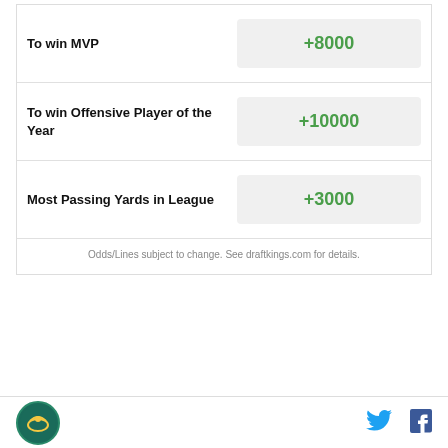| Category | Odds |
| --- | --- |
| To win MVP | +8000 |
| To win Offensive Player of the Year | +10000 |
| Most Passing Yards in League | +3000 |
Odds/Lines subject to change. See draftkings.com for details.